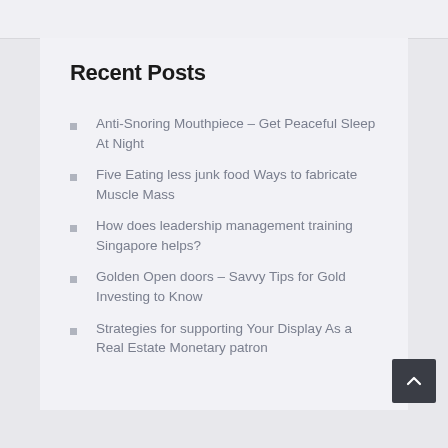Recent Posts
Anti-Snoring Mouthpiece – Get Peaceful Sleep At Night
Five Eating less junk food Ways to fabricate Muscle Mass
How does leadership management training Singapore helps?
Golden Open doors – Savvy Tips for Gold Investing to Know
Strategies for supporting Your Display As a Real Estate Monetary patron